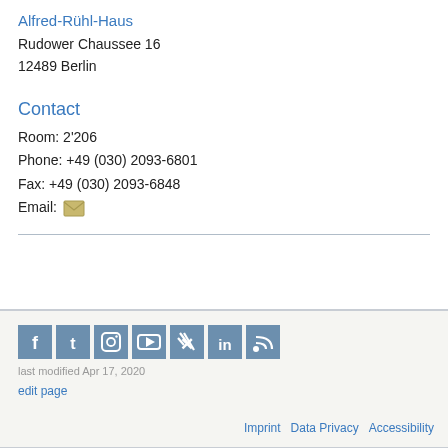Alfred-Rühl-Haus
Rudower Chaussee 16
12489 Berlin
Contact
Room: 2'206
Phone: +49 (030) 2093-6801
Fax: +49 (030) 2093-6848
Email: [email icon]
[Figure (infographic): Social media icons row: Facebook, Twitter, Instagram, YouTube, Xing, LinkedIn, RSS]
last modified Apr 17, 2020
edit page
Imprint   Data Privacy   Accessibility